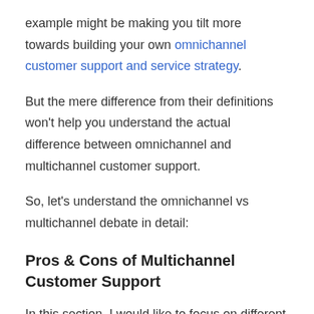example might be making you tilt more towards building your own omnichannel customer support and service strategy.
But the mere difference from their definitions won't help you understand the actual difference between omnichannel and multichannel customer support.
So, let's understand the omnichannel vs multichannel debate in detail:
Pros & Cons of Multichannel Customer Support
In this section, I would like to focus on different advantages and disadvantages of using multichannel